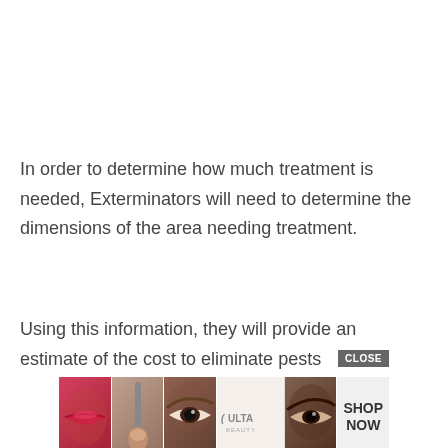In order to determine how much treatment is needed, Exterminators will need to determine the dimensions of the area needing treatment.
Using this information, they will provide an estimate of the cost to eliminate pests
[Figure (other): ULTA Beauty advertisement banner with close button and 'SHOP NOW' call to action, featuring cosmetic product imagery and close-up face photos]